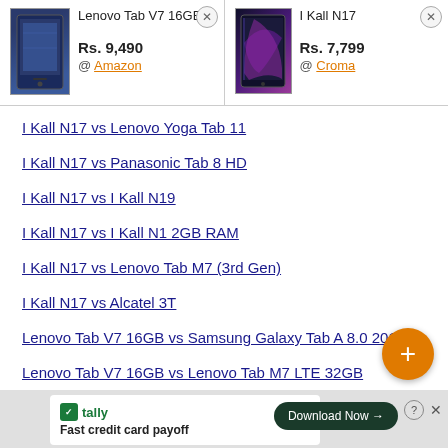[Figure (screenshot): Product comparison header with two tablets: Lenovo Tab V7 16GB at Rs. 9,490 on Amazon, and I Kall N17 at Rs. 7,799 on Croma]
I Kall N17 vs Lenovo Yoga Tab 11
I Kall N17 vs Panasonic Tab 8 HD
I Kall N17 vs I Kall N19
I Kall N17 vs I Kall N1 2GB RAM
I Kall N17 vs Lenovo Tab M7 (3rd Gen)
I Kall N17 vs Alcatel 3T
Lenovo Tab V7 16GB vs Samsung Galaxy Tab A 8.0 2019
Lenovo Tab V7 16GB vs Lenovo Tab M7 LTE 32GB
Lenovo Tab V7 16GB vs Lenovo Tab V7
[Figure (screenshot): Tally advertisement banner: Fast credit card payoff, Download Now button]